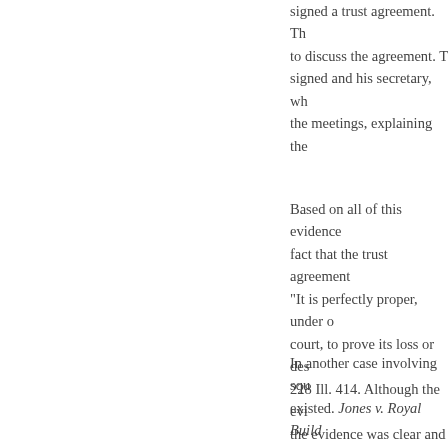unimaginable as it was, he signed a trust agreement. There were meetings to discuss the agreement. The man who signed and his secretary, who attended the meetings, explaining the
Based on all of this evidence, and the fact that the trust agreement — "It is perfectly proper, under certain court, to prove its loss or destruction. 228 Ill. 414. Although the evidence, the evidence was clear and convincing missing agreement.
In another case involving squabbles existed. Jones v. Royal Build Florence Jones executed a deed, trust agreement, but unfortunately, trustees appointed in the deed trust, trustees, Frederick and Louis, set it aside. They claimed that they had no agreement drawn up. They testified attorney, that they saw the trust never filed either document,